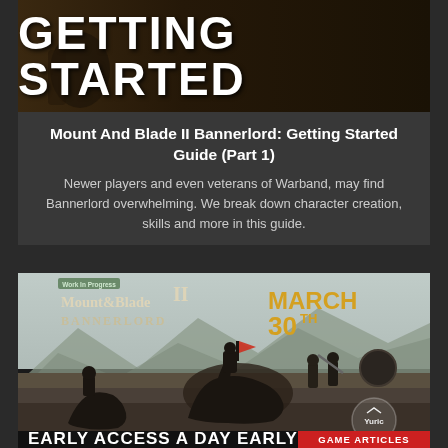[Figure (screenshot): Getting Started banner image with dark medieval background and large white bold text reading GETTING STARTED]
Mount And Blade II Bannerlord: Getting Started Guide (Part 1)
Newer players and even veterans of Warband, may find Bannerlord overwhelming. We break down character creation, skills and more in this guide.
APRIL 2, 2020  💬 0
[Figure (screenshot): Mount & Blade II Bannerlord game promotional image showing medieval combat with horses, soldiers fighting, landscape background. Top-left shows Work in Progress badge and game logo. Top-right shows MARCH 30TH in gold text. Bottom-right shows GAME ARTICLES red label and Yuric badge. Bottom shows EARLY ACCESS A DAY EARLY text.]